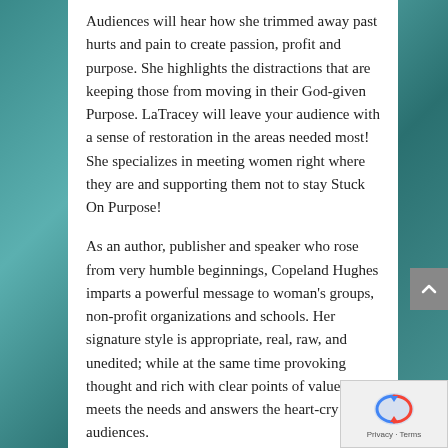Audiences will hear how she trimmed away past hurts and pain to create passion, profit and purpose. She highlights the distractions that are keeping those from moving in their God-given Purpose. LaTracey will leave your audience with a sense of restoration in the areas needed most! She specializes in meeting women right where they are and supporting them not to stay Stuck On Purpose!
As an author, publisher and speaker who rose from very humble beginnings, Copeland Hughes imparts a powerful message to woman's groups, non-profit organizations and schools. Her signature style is appropriate, real, raw, and unedited; while at the same time provoking thought and rich with clear points of value. She meets the needs and answers the heart-cry of her audiences.
For more information, or to book her for your ministry